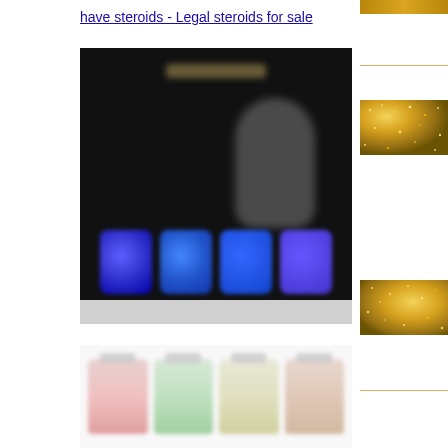have steroids - Legal steroids for sale
[Figure (photo): Blurred dark promotional image showing a muscular figure with supplement product bottles below, set against a black background with colorful label imagery]
[Figure (photo): Blurred image of supplement bottles with colorful labels on a white background]